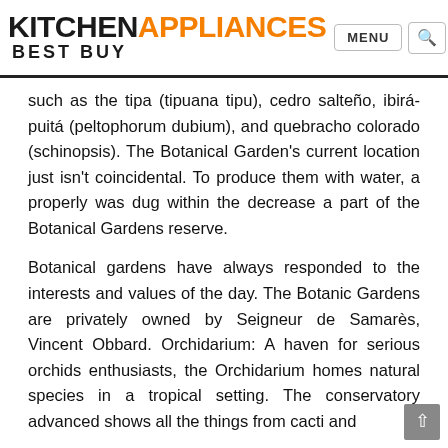KITCHEN APPLIANCES BEST BUY
such as the tipa (tipuana tipu), cedro salteño, ibirá-puitá (peltophorum dubium), and quebracho colorado (schinopsis). The Botanical Garden's current location just isn't coincidental. To produce them with water, a properly was dug within the decrease a part of the Botanical Gardens reserve.
Botanical gardens have always responded to the interests and values of the day. The Botanic Gardens are privately owned by Seigneur de Samarès, Vincent Obbard. Orchidarium: A haven for serious orchids enthusiasts, the Orchidarium homes natural species in a tropical setting. The conservatory advanced shows all the things from cacti and